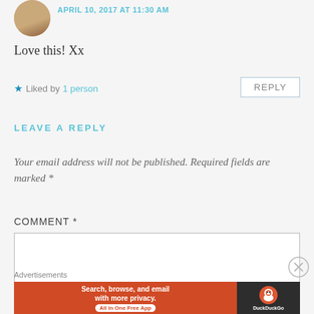[Figure (photo): Circular avatar photo of a woman with long hair and a necklace]
APRIL 10, 2017 AT 11:30 AM
Love this! Xx
★ Liked by 1 person
REPLY
LEAVE A REPLY
Your email address will not be published. Required fields are marked *
COMMENT *
Advertisements
[Figure (infographic): DuckDuckGo advertisement banner: orange left section reads 'Search, browse, and email with more privacy. All in One Free App', dark right section with DuckDuckGo logo]